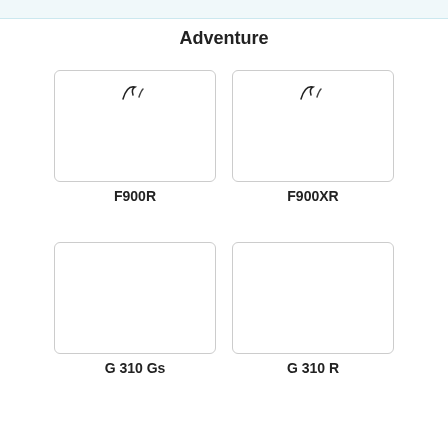Adventure
[Figure (illustration): Product card for F900R motorcycle with two small icon symbols at top]
F900R
[Figure (illustration): Product card for F900XR motorcycle with two small icon symbols at top]
F900XR
[Figure (illustration): Product card for G 310 Gs motorcycle, empty white card]
G 310 Gs
[Figure (illustration): Product card for G 310 R motorcycle, empty white card]
G 310 R